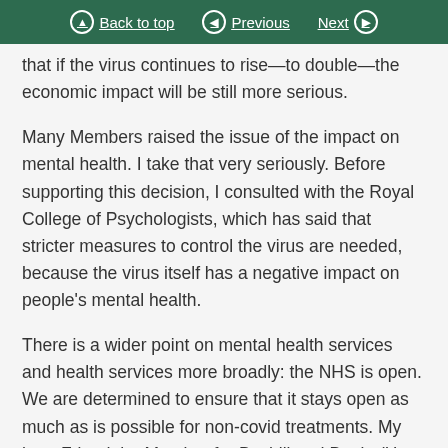Back to top | Previous | Next
that if the virus continues to rise—to double—the economic impact will be still more serious.
Many Members raised the issue of the impact on mental health. I take that very seriously. Before supporting this decision, I consulted with the Royal College of Psychologists, which has said that stricter measures to control the virus are needed, because the virus itself has a negative impact on people's mental health.
There is a wider point on mental health services and health services more broadly: the NHS is open. We are determined to ensure that it stays open as much as is possible for non-covid treatments. My hon. Friend the Member for Bexhill and Battle (Huw